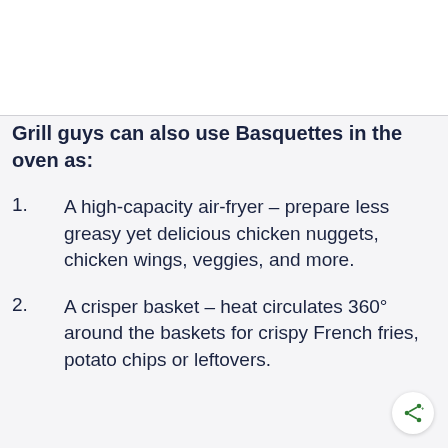Grill guys can also use Basquettes in the oven as:
1.    A high-capacity air-fryer – prepare less greasy yet delicious chicken nuggets, chicken wings, veggies, and more.
2.    A crisper basket – heat circulates 360° around the baskets for crispy French fries, potato chips or leftovers.